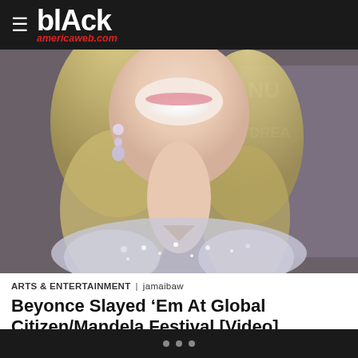blAck americaweb.com
[Figure (photo): Close-up photo of a woman with blonde hair, wearing diamond drop earrings and a silver/crystal embellished dress, smiling, in front of a backdrop reading 'A DREAM']
ARTS & ENTERTAINMENT | jamaibaw
Beyonce Slayed ‘Em At Global Citizen/Mandela Festival [Video]
Beyonce and Jay Z are in Johannesburg, South Africa at the Global Citizen: Mandela 100 festival to commemorate what